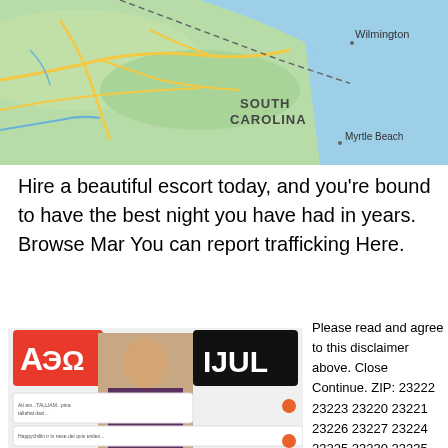[Figure (map): Google Maps screenshot showing coastal North Carolina/South Carolina area with Wilmington, Myrtle Beach, South Carolina labels visible, roads and coastline]
Hire a beautiful escort today, and you're bound to have the best night you have had in years. Browse Mar You can report trafficking Here.
[Figure (screenshot): Screenshot collage showing logos (AdBlock and Lyft), a man thinking, and social media chat messages]
Please read and agree to this disclaimer above. Close Continue. ZIP: 23222 23223 23220 23221 23226 23227 23224 23225 23230 23235 23234 23219 23173 23218